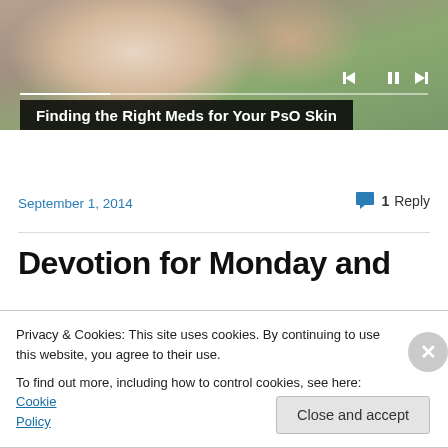[Figure (photo): Close-up photo of a human hand/palm against a green/nature background, with video playback controls (previous, pause, next) and a progress bar overlaid. A black title bar reads 'Finding the Right Meds for Your PsO Skin'.]
September 1, 2014
1 Reply
Devotion for Monday and
Privacy & Cookies: This site uses cookies. By continuing to use this website, you agree to their use.
To find out more, including how to control cookies, see here: Cookie Policy
Close and accept